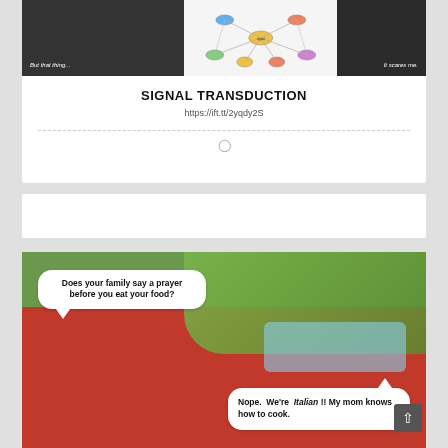[Figure (screenshot): Three-panel image: dark photo on left with text 'But that thing...', network/signal transduction diagram in center, dark photo on right with text 'It scares me.']
SIGNAL TRANSDUCTION
https://ift.tt/2yqdy2S
[Figure (other): Empty white card section]
[Figure (photo): Meme image with red truck background. Speech bubble 1: 'Does your family say a prayer before you eat your food?' Speech bubble 2: 'Nope. We're Italian !! My mom knows how to cook.']